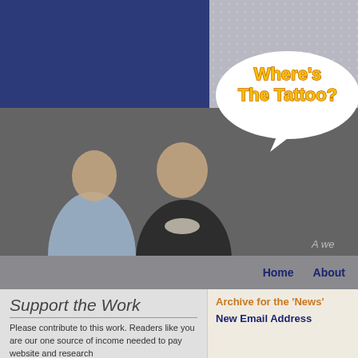[Figure (screenshot): Website screenshot showing 'Where's The Tattoo?' website header with speech bubble logo, elderly couple photo, navigation bar with Home and About links, Support the Work section, and Archive for the News sidebar]
Where's The Tattoo?
A we
Home    About
Support the Work
Please contribute to this work. Readers like you are our one source of income needed to pay website and research
Archive for the 'News'
New Email Address